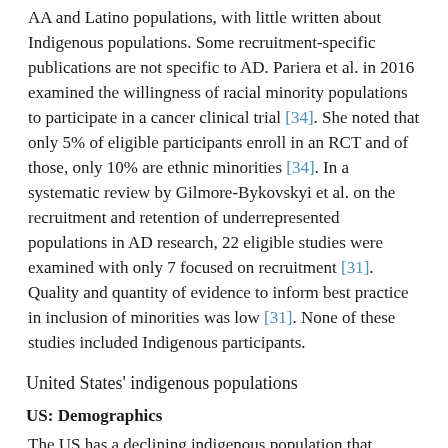AA and Latino populations, with little written about Indigenous populations. Some recruitment-specific publications are not specific to AD. Pariera et al. in 2016 examined the willingness of racial minority populations to participate in a cancer clinical trial [34]. She noted that only 5% of eligible participants enroll in an RCT and of those, only 10% are ethnic minorities [34]. In a systematic review by Gilmore-Bykovskyi et al. on the recruitment and retention of underrepresented populations in AD research, 22 eligible studies were examined with only 7 focused on recruitment [31]. Quality and quantity of evidence to inform best practice in inclusion of minorities was low [31]. None of these studies included Indigenous participants.
United States' indigenous populations
US: Demographics
The US has a declining indigenous population that...